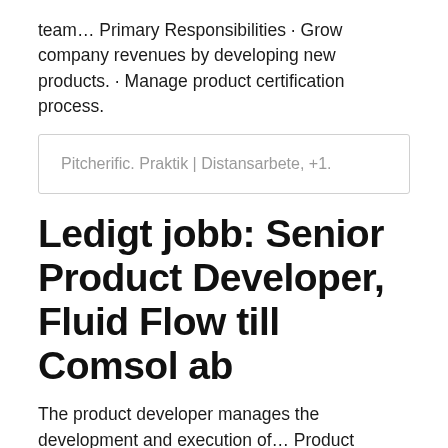team… Primary Responsibilities · Grow company revenues by developing new products. · Manage product certification process.
Pitcherific. Praktik | Distansarbete, +1.
Ledigt jobb: Senior Product Developer, Fluid Flow till Comsol ab
The product developer manages the development and execution of… Product Developer - Family